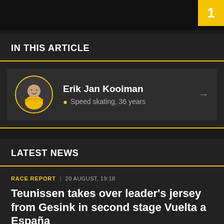IN THIS ARTICLE
[Figure (photo): Circular avatar photo of Erik Jan Kooiman in yellow speed skating suit]
Erik Jan Kooiman
Speed skating, 36 years
LATEST NEWS
RACE REPORT | 20 AUGUST, 19:18
Teunissen takes over leader's jersey from Gesink in second stage Vuelta a España